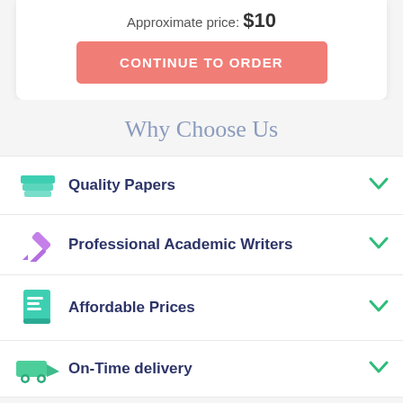Approximate price: $10
CONTINUE TO ORDER
Why Choose Us
Quality Papers
Professional Academic Writers
Affordable Prices
On-Time delivery